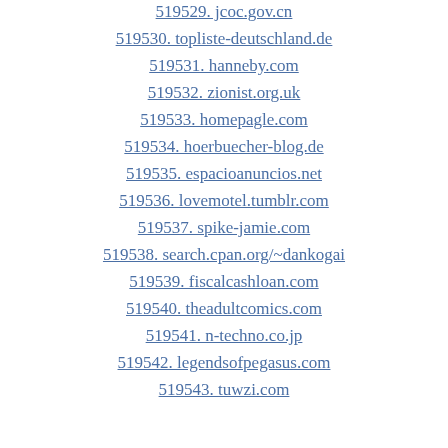519529. jcoc.gov.cn
519530. topliste-deutschland.de
519531. hanneby.com
519532. zionist.org.uk
519533. homepagle.com
519534. hoerbuecher-blog.de
519535. espacioanuncios.net
519536. lovemotel.tumblr.com
519537. spike-jamie.com
519538. search.cpan.org/~dankogai
519539. fiscalcashloan.com
519540. theadultcomics.com
519541. n-techno.co.jp
519542. legendsofpegasus.com
519543. tuwzi.com